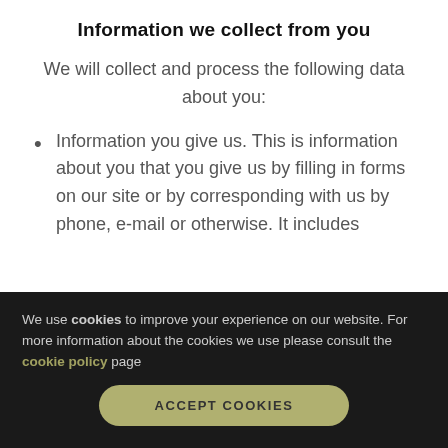Information we collect from you
We will collect and process the following data about you:
Information you give us. This is information about you that you give us by filling in forms on our site or by corresponding with us by phone, e-mail or otherwise. It includes
We use cookies to improve your experience on our website. For more information about the cookies we use please consult the cookie policy page